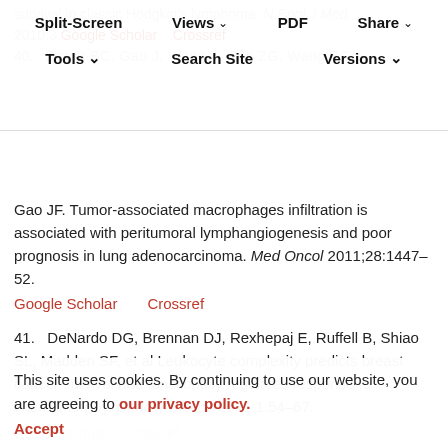Split-Screen | Views | PDF | Share | Tools | Search Site | Versions
survival in classic Hodgkin's lymphoma. N Engl J Med. 2010;3...
Google Scholar   Crossref
40.   Zhang BC, Gao J, Wang J, Rao ZG, Wang BC, Gao JF. Tumor-associated macrophages infiltration is associated with peritumoral lymphangiogenesis and poor prognosis in lung adenocarcinoma. Med Oncol 2011;28:1447–52.
Google Scholar     Crossref
41.   DeNardo DG, Brennan DJ, Rexhepaj E, Ruffell B, Shiao SL, Madden SF, et al Leukocyte complexity predicts breast cancer survival and functionally regulates response to chemotherapy. Cancer Discov 2011:1:54–67.
Google Scholar   Crossref
This site uses cookies. By continuing to use our website, you are agreeing to our privacy policy.
Accept